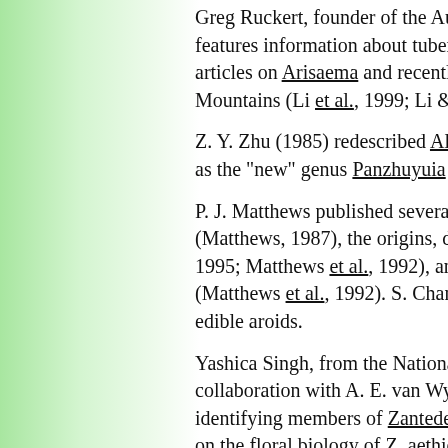Greg Ruckert, founder of the Australia... features information about tuberous a... articles on Arisaema and recently part... Mountains (Li et al., 1999; Li & Rucker...
Z. Y. Zhu (1985) redescribed Alocasia... as the "new" genus Panzhuyuia with a...
P. J. Matthews published several pape... (Matthews, 1987), the origins, dispers... 1995; Matthews et al., 1992), and on r... (Matthews et al., 1992). S. Chandra (1... edible aroids.
Yashica Singh, from the National Bota... collaboration with A. E. van Wyk and K... identifying members of Zantedeschia r... on the floral biology of Z. aethiopica (S... of the genus (Singh et al., 1996b). The... on the systematics of Zantedeschia (S... University of Pretoria.
Jenn-Che Wang from Taiwan Normal U... systematic revision of Taiwanese Arisa... detailed drawings, photographs of spa...